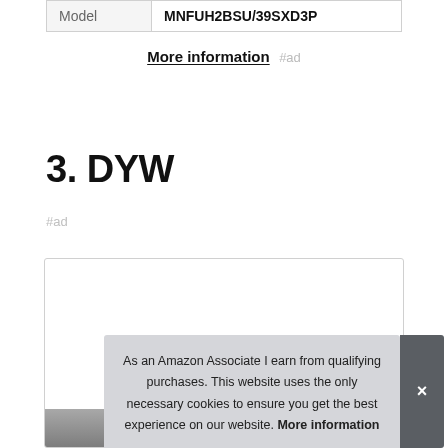| Model | MNFUH2BSU/39SXD3P |
| --- | --- |
More information #ad
3. DYW
#ad
As an Amazon Associate I earn from qualifying purchases. This website uses the only necessary cookies to ensure you get the best experience on our website. More information
[Figure (photo): Product image partially visible at bottom of card]